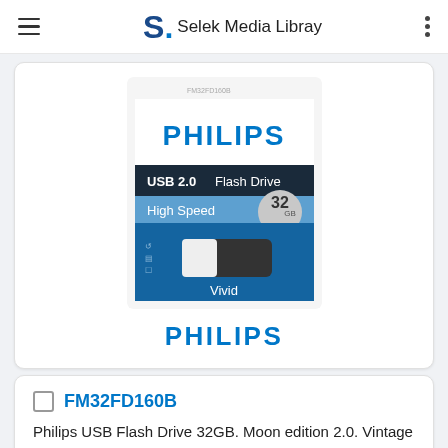Selek Media Libray
[Figure (photo): Philips USB 2.0 Flash Drive 32GB High Speed Vivid product packaging image on a blue background]
PHILIPS
FM32FD160B
Philips USB Flash Drive 32GB. Moon edition 2.0. Vintage silver
Slim and elegant design